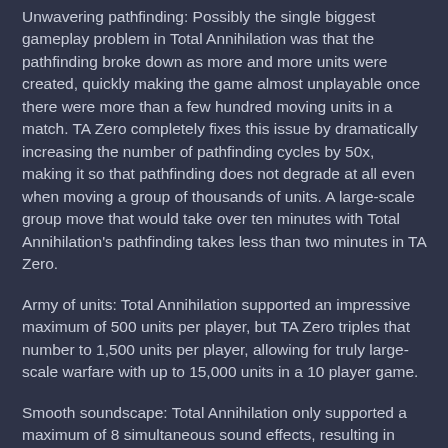Unwavering pathfinding: Possibly the single biggest gameplay problem in Total Annihilation was that the pathfinding broke down as more and more units were created, quickly making the game almost unplayable once there were more than a few hundred moving units in a match. TA Zero completely fixes this issue by dramatically increasing the number of pathfinding cycles by 50x, making it so that pathfinding does not degrade at all even when moving a group of thousands of units. A large-scale group move that would take over ten minutes with Total Annihilation's pathfinding takes less than two minutes in TA Zero.
Army of units: Total Annihilation supported an impressive maximum of 500 units per player, but TA Zero triples that number to 1,500 units per player, allowing for truly large-scale warfare with up to 15,000 units in a 10 player game.
Smooth soundscape: Total Annihilation only supported a maximum of 8 simultaneous sound effects, resulting in sounds constantly being cut off during the heat of battle. TA Zero supports unlimited simultaneous sound effects so no sound ever gets jarringly cut short.
Polished Game Design
Manageable economy: TA Zero makes full and proper use of Total Annihilation's production rate based resource structure with a logical, consistent, and balanced economic system that is easy to learn and manage. Production rates, usage rates, and total costs make sense